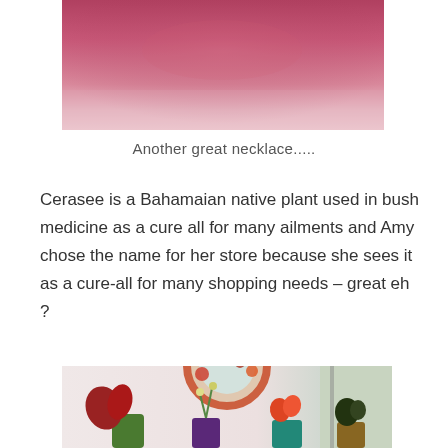[Figure (photo): Top portion of a photo showing a pink/mauve gradient background, likely a close-up of a necklace or fabric]
Another great necklace.....
Cerasee is a Bahamaian native plant used in bush medicine as a cure all for many ailments and Amy chose the name for her store because she sees it as a cure-all for many shopping needs – great eh ?
[Figure (photo): Interior shop scene with colorful flower arrangements in vases on a shelf, a decorative floral mirror on the wall, and a door visible to the right]